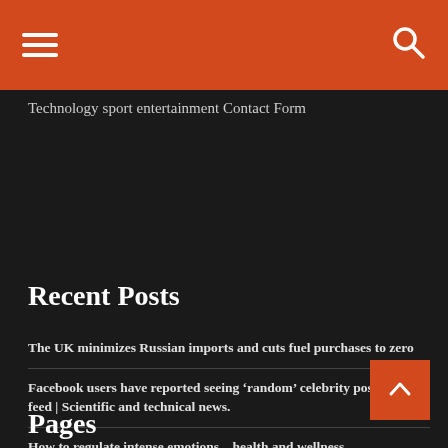[Figure (screenshot): Orange navigation header bar with hamburger menu icon on left and search icon on right]
Technology
sport
entertainment
Contact Form
Recent Posts
The UK minimizes Russian imports and cuts fuel purchases to zero
Facebook users have reported seeing ‘random’ celebrity posts in their feed | Scientific and technical news.
How to regulate intense emotions – health and wellness
Kyrgios ignores Nadal and chooses Alcaraz
How to remove Telcel, AT&T, Movistar voicemail notification in Mexico
Pages